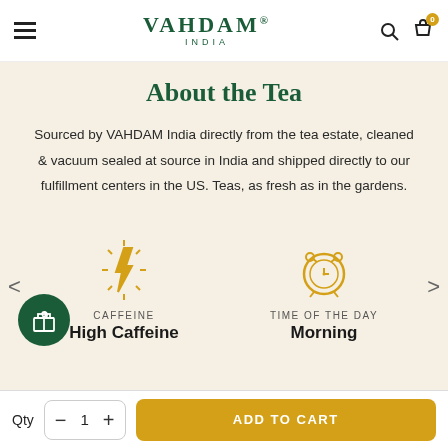VAHDAM® INDIA
About the Tea
Sourced by VAHDAM India directly from the tea estate, cleaned & vacuum sealed at source in India and shipped directly to our fulfillment centers in the US. Teas, as fresh as in the gardens.
[Figure (infographic): Caffeine icon: lightning bolt with rays, labeled CAFFEINE / High Caffeine. Time of Day icon: alarm clock, labeled TIME OF THE DAY / Morning.]
Qty  -  1  +  ADD TO CART